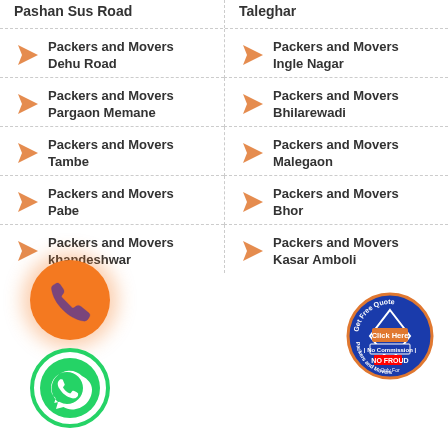Packers and Movers Pashan Sus Road
Packers and Movers Taleghar
Packers and Movers Dehu Road
Packers and Movers Ingle Nagar
Packers and Movers Pargaon Memane
Packers and Movers Bhilarewadi
Packers and Movers Tambe
Packers and Movers Malegaon
Packers and Movers Pabe
Packers and Movers Bhor
Packers and Movers khandeshwar
Packers and Movers Kasar Amboli
[Figure (illustration): Orange phone call icon in orange glowing circle]
[Figure (illustration): Green WhatsApp phone icon in green circle]
[Figure (illustration): Round badge: Get Free Quote, Click Here, No Commission, NO FROUD, Only For Packers and Movers]